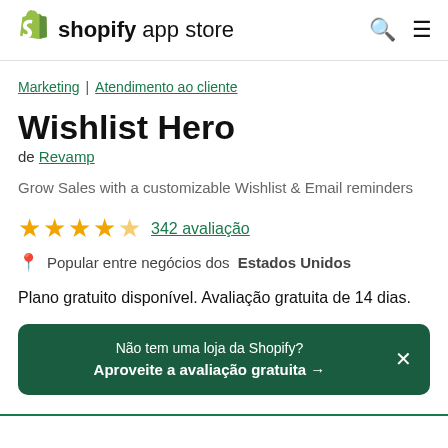shopify app store
Marketing | Atendimento ao cliente
Wishlist Hero
de Revamp
Grow Sales with a customizable Wishlist & Email reminders
★★★★★ 342 avaliação
Popular entre negócios dos Estados Unidos
Plano gratuito disponível. Avaliação gratuita de 14 dias.
Não tem uma loja da Shopify? Aproveite a avaliação gratuita →